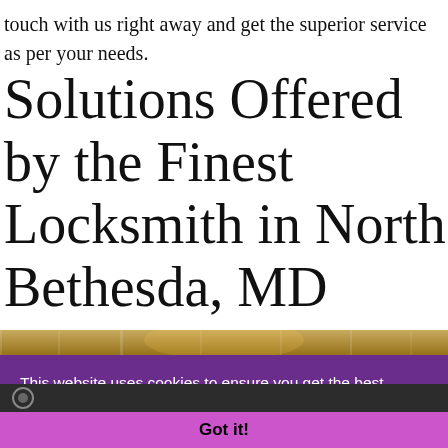touch with us right away and get the superior service as per your needs.
Solutions Offered by the Finest Locksmith in North Bethesda, MD
[Figure (photo): A partial view of a building or glass facade with warm evening lighting, partially obscured by overlaid cookie consent banner.]
This website uses cookies to ensure you get the best experience on our website. Learn More
Got it!